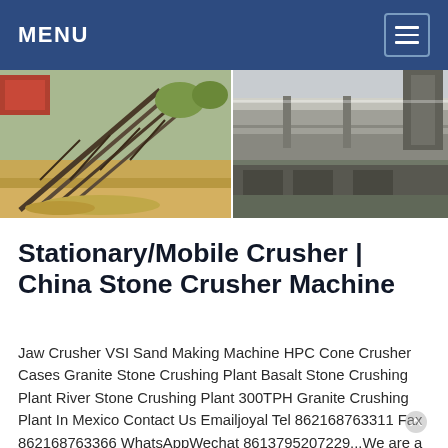MENU
[Figure (photo): Two side-by-side industrial site photos: left shows a stone crushing conveyor plant on a hillside with orange/red/tan earth tones; right shows large industrial pipes and machinery in an outdoor setting.]
Stationary/Mobile Crusher | China Stone Crusher Machine
Jaw Crusher VSI Sand Making Machine HPC Cone Crusher Cases Granite Stone Crushing Plant Basalt Stone Crushing Plant River Stone Crushing Plant 300TPH Granite Crushing Plant In Mexico Contact Us Emailjoyal Tel 862168763311 Fax 862168763366 WhatsAppWechat 8613795207229...We are a professional mining machinery manufacturer, the main equipment including: jaw crusher,